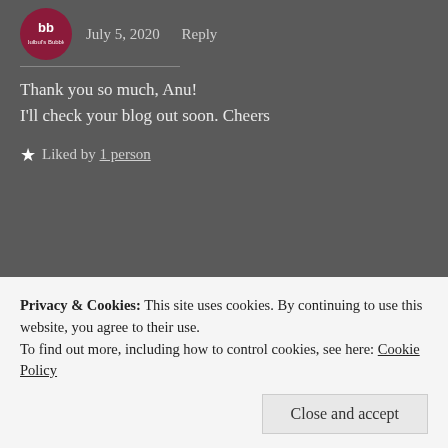July 5, 2020   Reply
Thank you so much, Anu!
I'll check your blog out soon. Cheers
★ Liked by 1 person
AnuRijo
July 5, 2020   Reply
Privacy & Cookies: This site uses cookies. By continuing to use this website, you agree to their use.
To find out more, including how to control cookies, see here: Cookie Policy
Close and accept